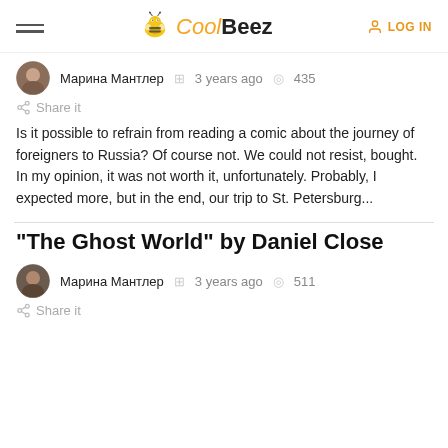CoolBeez — LOG IN
Марина Мантлер   3 years ago   435
Share it
Is it possible to refrain from reading a comic about the journey of foreigners to Russia? Of course not. We could not resist, bought. In my opinion, it was not worth it, unfortunately. Probably, I expected more, but in the end, our trip to St. Petersburg...
"The Ghost World" by Daniel Close
Марина Мантлер   3 years ago   511
Share it